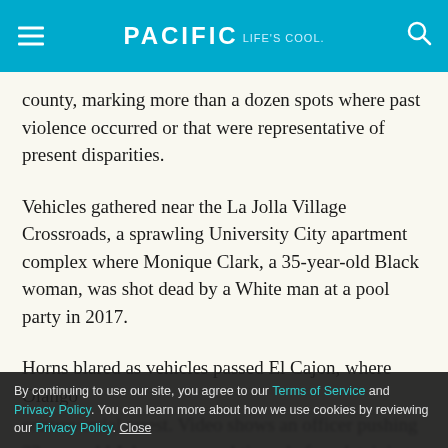PACIFIC Life's cool.
county, marking more than a dozen spots where past violence occurred or that were representative of present disparities.
Vehicles gathered near the La Jolla Village Crossroads, a sprawling University City apartment complex where Monique Clark, a 35-year-old Black woman, was shot dead by a White man at a pool party in 2017.
Horns blared as vehicles passed El Cajon, where Olango
controversial arrest. Video shows an officer pushing 23-year-old Johnson several times before detaining him on
By continuing to use our site, you agree to our Terms of Service and Privacy Policy. You can learn more about how we use cookies by reviewing our Privacy Policy. Close